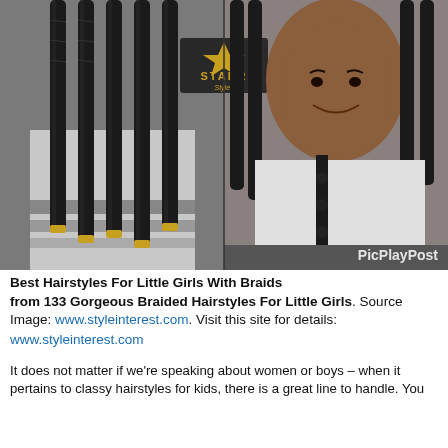[Figure (photo): Side-by-side collage photo of a young girl with long black box braids. Left side shows the back view displaying multiple thick braids hanging down with gold cuffs at the tips, wearing a grey and black sweater. Right side shows the front/face view of the same girl smiling, wearing a grey and black button-up cardigan, with braids framing her face. A 'STARR' logo watermark is visible in the center top, and 'PicPlayPost' watermark is in the bottom right.]
Best Hairstyles For Little Girls With Braids from 133 Gorgeous Braided Hairstyles For Little Girls. Source Image: www.styleinterest.com. Visit this site for details: www.styleinterest.com
It does not matter if we're speaking about women or boys – when it pertains to classy hairstyles for kids, there is a great line to handle. You